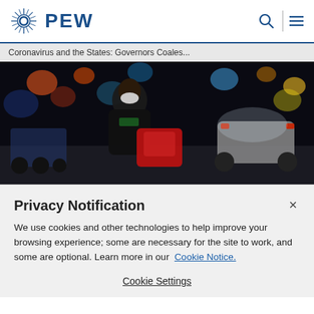PEW
Coronavirus and the States: Governors Coales...
[Figure (photo): A person wearing a face mask carrying a red delivery bag on a city street at night with blurred lights and a car in the background.]
Privacy Notification
We use cookies and other technologies to help improve your browsing experience; some are necessary for the site to work, and some are optional. Learn more in our Cookie Notice.
Cookie Settings